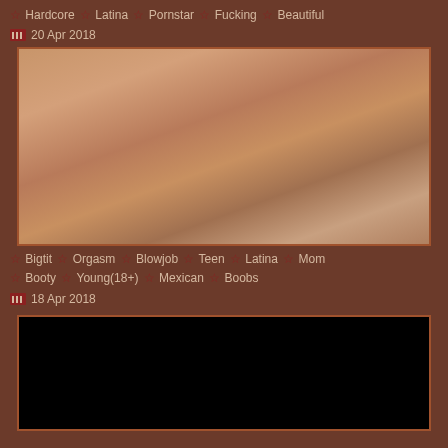Hardcore  Latina  Pornstar  Fucking  Beautiful
20 Apr 2018
[Figure (photo): Video thumbnail showing adult content]
Bigtit  Orgasm  Blowjob  Teen  Latina  Mom  Booty  Young(18+)  Mexican  Boobs
18 Apr 2018
[Figure (photo): Black video thumbnail]